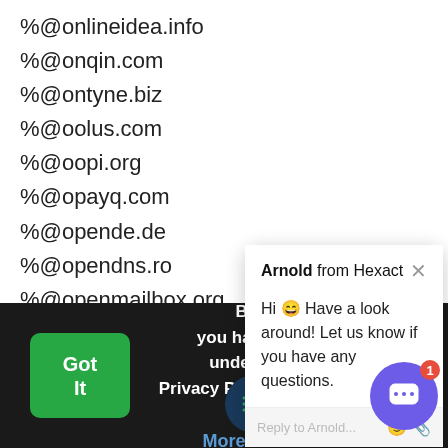%@onlineidea.info
%@onqin.com
%@ontyne.biz
%@oolus.com
%@oopi.org
%@opayq.com
%@opende.de
%@opendns.ro
%@openmailbox.org
%@opentrash.com
%@opmmedia.g...
%@opp24.com
[Figure (screenshot): Chat popup from Arnold at Hexact saying: Hi 😀 Have a look around! Let us know if you have any questions. With a Reply to Arnold input field.]
By using you have read and understand our Privacy Policy and Terms of Service
More
[Figure (logo): Dark circle with green lines logo]
[Figure (illustration): Purple chat button with notification badge showing 1]